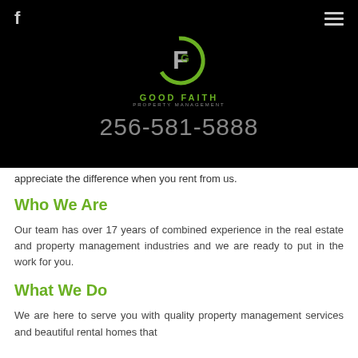[Figure (logo): Good Faith Property Management logo — circular green G with F letterform inside, company name below]
256-581-5888
appreciate the difference when you rent from us.
Who We Are
Our team has over 17 years of combined experience in the real estate and property management industries and we are ready to put in the work for you.
What We Do
We are here to serve you with quality property management services and beautiful rental homes that